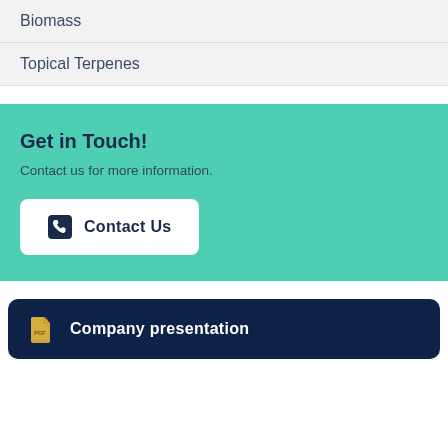Biomass
Topical Terpenes
Get in Touch!
Contact us for more information.
Contact Us
Company presentation